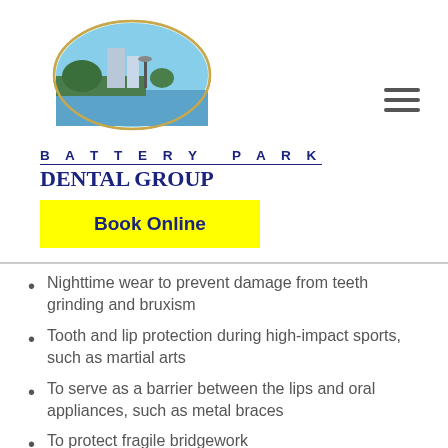[Figure (logo): Battery Park Dental Group oval logo with photo of park and waterfront]
BATTERY PARK DENTAL GROUP
Book Online
Nighttime wear to prevent damage from teeth grinding and bruxism
Tooth and lip protection during high-impact sports, such as martial arts
To serve as a barrier between the lips and oral appliances, such as metal braces
To protect fragile bridgework
Wh...